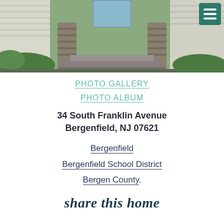[Figure (photo): Exterior photo of a house showing stone steps leading to a front entrance, white siding, and green landscaping. A teal hamburger menu icon is visible in the top right corner.]
PHOTO GALLERY
PHOTO ALBUM
34 South Franklin Avenue
Bergenfield, NJ 07621
Bergenfield
Bergenfield School District
Bergen County
share this home